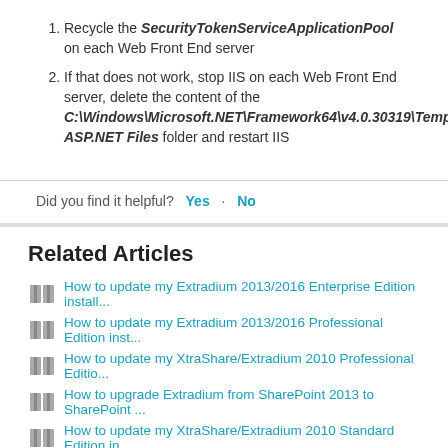Recycle the SecurityTokenServiceApplicationPool on each Web Front End server
If that does not work, stop IIS on each Web Front End server, delete the content of the C:\Windows\Microsoft.NET\Framework64\v4.0.30319\Temporary ASP.NET Files folder and restart IIS
Did you find it helpful? Yes  No
Related Articles
How to update my Extradium 2013/2016 Enterprise Edition install...
How to update my Extradium 2013/2016 Professional Edition inst...
How to update my XtraShare/Extradium 2010 Professional Editio...
How to upgrade Extradium from SharePoint 2013 to SharePoint ...
How to update my XtraShare/Extradium 2010 Standard Edition in...
How to uninstall Extradium 2013 Free Edition?
How to troubleshoot sign-in issues?
Failed to find the XML file at location /15/Template/Features/Pick i...